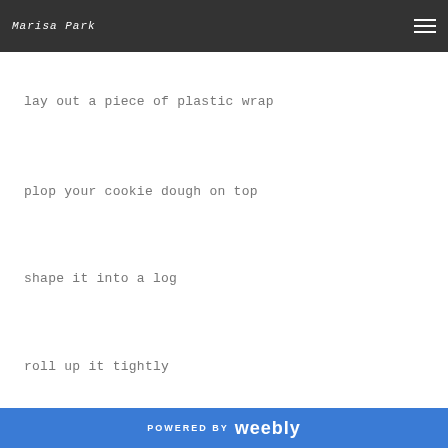Marisa Park
lay out a piece of plastic wrap
plop your cookie dough on top
shape it into a log
roll up it tightly
POWERED BY weebly